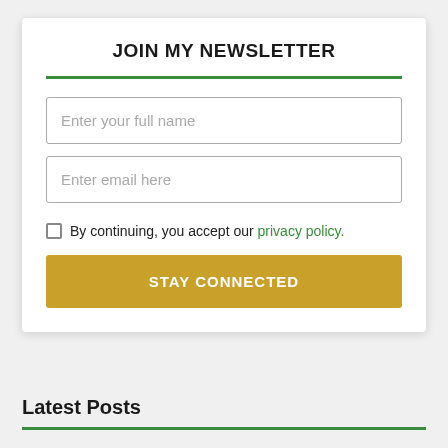JOIN MY NEWSLETTER
Enter your full name
Enter email here
By continuing, you accept our privacy policy.
STAY CONNECTED
Latest Posts